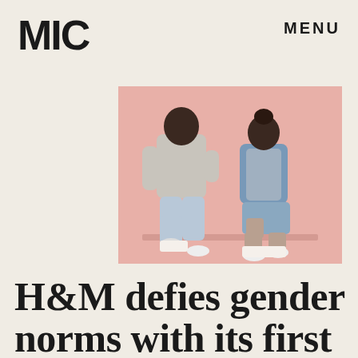MIC
MENU
[Figure (photo): Two models posing against a pink background wearing H&M unisex clothing — one in a grey hoodie and light jeans, the other in a denim jacket, grey hoodie and denim shorts; both propping one foot on a small white block.]
H&M defies gender norms with its first ever unisex collection